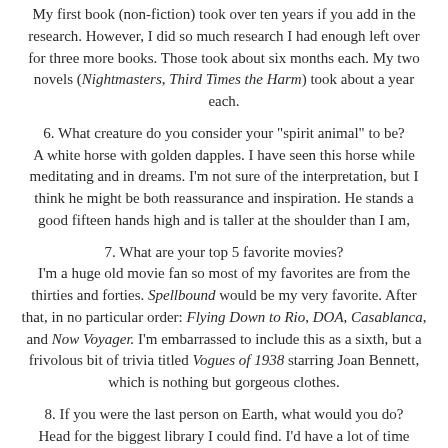My first book (non-fiction) took over ten years if you add in the research. However, I did so much research I had enough left over for three more books. Those took about six months each. My two novels (Nightmasters, Third Times the Harm) took about a year each.
6. What creature do you consider your "spirit animal" to be? A white horse with golden dapples. I have seen this horse while meditating and in dreams. I'm not sure of the interpretation, but I think he might be both reassurance and inspiration. He stands a good fifteen hands high and is taller at the shoulder than I am,
7. What are your top 5 favorite movies? I'm a huge old movie fan so most of my favorites are from the thirties and forties. Spellbound would be my very favorite. After that, in no particular order: Flying Down to Rio, DOA, Casablanca, and Now Voyager. I'm embarrassed to include this as a sixth, but a frivolous bit of trivia titled Vogues of 1938 starring Joan Bennett, which is nothing but gorgeous clothes.
8. If you were the last person on Earth, what would you do? Head for the biggest library I could find. I'd have a lot of time